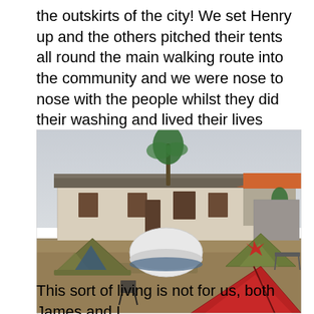the outskirts of the city! We set Henry up and the others pitched their tents all round the main walking route into the community and we were nose to nose with the people whilst they did their washing and lived their lives around us.
[Figure (photo): Photograph of several pitched tents on a grassy/dirt area in front of a low single-storey building with a corrugated metal roof. A white dome tent, olive/green tents, and a red tent are visible. A palm tree and an orange-roofed building are visible in the background against a hazy sky.]
This sort of living is not for us, both James and I